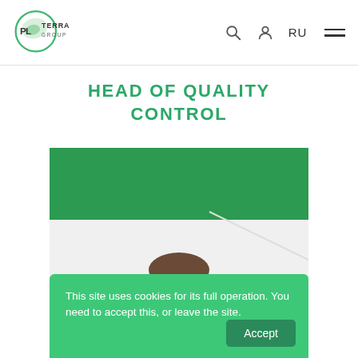PLYTERRA GROUP — navigation header with logo, search, user, RU, menu icons
HEAD OF QUALITY CONTROL
[Figure (photo): Photograph of a man in a room with green and white walls, looking downward. A cookie consent banner overlays the bottom of the image with text: 'This site uses cookies for its full operation. You need to accept this, or leave the site.' and an Accept button.]
This site uses cookies for its full operation. You need to accept this, or leave the site.